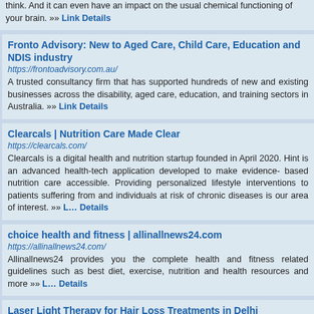think. And it can even have an impact on the usual chemical functioning of your brain. »» Link Details
Fronto Advisory: New to Aged Care, Child Care, Education and NDIS industry
https://frontoadvisory.com.au/
A trusted consultancy firm that has supported hundreds of new and existing businesses across the disability, aged care, education, and training sectors in Australia. »» Link Details
Clearcals | Nutrition Care Made Clear
https://clearcals.com/
Clearcals is a digital health and nutrition startup founded in April 2020. Hint is an advanced health-tech application developed to make evidence- based nutrition care accessible. Providing personalized lifestyle interventions to patients suffering from and individuals at risk of chronic diseases is our area of interest. »» Link Details
choice health and fitness | allinallnews24.com
https://allinallnews24.com/
Allinallnews24 provides you the complete health and fitness related guidelines such as best diet, exercise, nutrition and health resources and more »» Link Details
Laser Light Therapy for Hair Loss Treatments in Delhi
http://www.hoshairclinic.in/service/laser-hair-therapy/
Hair fall problems can cause depression and anxiety. It can bring down the looks and confidence for everyone. Hair problems are very commonplace these days and affect everyone irrespective of age and gender. The main reason for hair fall is our changing lifestyle and the changes in the environment. »» Link Details